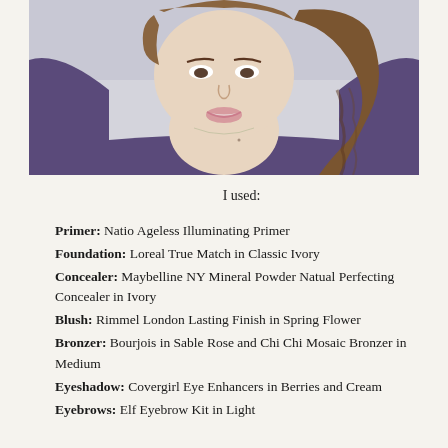[Figure (photo): Portrait photo of a young woman with a braided hairstyle, wearing a purple sweater, smiling at the camera against a light background.]
I used:
Primer: Natio Ageless Illuminating Primer
Foundation: Loreal True Match in Classic Ivory
Concealer: Maybelline NY Mineral Powder Natual Perfecting Concealer in Ivory
Blush: Rimmel London Lasting Finish in Spring Flower
Bronzer: Bourjois in Sable Rose and Chi Chi Mosaic Bronzer in Medium
Eyeshadow: Covergirl Eye Enhancers in Berries and Cream
Eyebrows: Elf Eyebrow Kit in Light